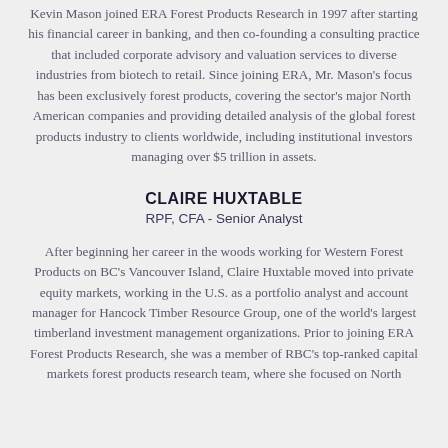Kevin Mason joined ERA Forest Products Research in 1997 after starting his financial career in banking, and then co-founding a consulting practice that included corporate advisory and valuation services to diverse industries from biotech to retail. Since joining ERA, Mr. Mason's focus has been exclusively forest products, covering the sector's major North American companies and providing detailed analysis of the global forest products industry to clients worldwide, including institutional investors managing over $5 trillion in assets.
CLAIRE HUXTABLE
RPF, CFA - Senior Analyst
After beginning her career in the woods working for Western Forest Products on BC's Vancouver Island, Claire Huxtable moved into private equity markets, working in the U.S. as a portfolio analyst and account manager for Hancock Timber Resource Group, one of the world's largest timberland investment management organizations. Prior to joining ERA Forest Products Research, she was a member of RBC's top-ranked capital markets forest products research team, where she focused on North